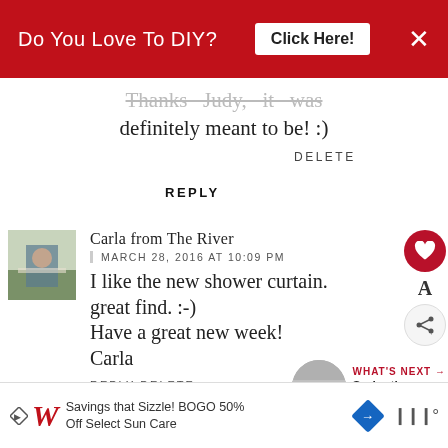[Figure (screenshot): Red advertisement banner with text 'Do You Love To DIY?' and 'Click Here!' button and X close button]
Thanks Judy, it was definitely meant to be! :)
DELETE
REPLY
Carla from The River
MARCH 28, 2016 AT 10:09 PM
I like the new shower curtain. great find. :-)
Have a great new week!
Carla
REPLY DELETE
[Figure (screenshot): Bottom advertisement banner: Walgreens logo with text 'Savings that Sizzle! BOGO 50% Off Select Sun Care', blue diamond navigation icon, and audio bars icon]